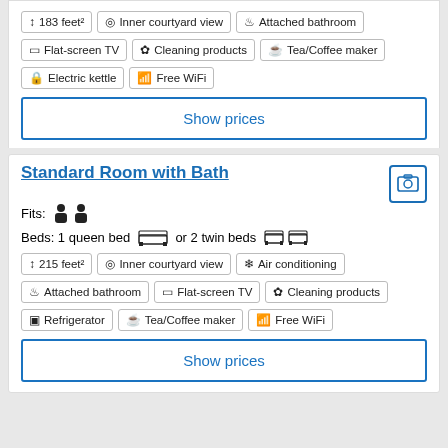183 feet² | Inner courtyard view | Attached bathroom | Flat-screen TV | Cleaning products | Tea/Coffee maker | Electric kettle | Free WiFi
Show prices
Standard Room with Bath
Fits: (2 person icons)
Beds: 1 queen bed or 2 twin beds
215 feet² | Inner courtyard view | Air conditioning | Attached bathroom | Flat-screen TV | Cleaning products | Refrigerator | Tea/Coffee maker | Free WiFi
Show prices